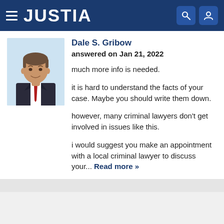JUSTIA
[Figure (photo): Headshot photo of Dale S. Gribow, a middle-aged man in a suit with a red tie, light blue background]
Dale S. Gribow
answered on Jan 21, 2022

much more info is needed.

it is hard to understand the facts of your case. Maybe you should write them down.

however, many criminal lawyers don't get involved in issues like this.

i would suggest you make an appointment with a local criminal lawyer to discuss your... Read more »